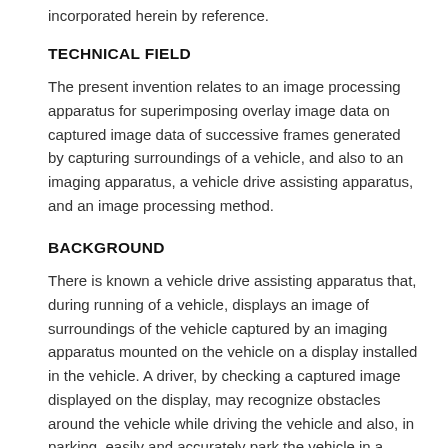incorporated herein by reference.
TECHNICAL FIELD
The present invention relates to an image processing apparatus for superimposing overlay image data on captured image data of successive frames generated by capturing surroundings of a vehicle, and also to an imaging apparatus, a vehicle drive assisting apparatus, and an image processing method.
BACKGROUND
There is known a vehicle drive assisting apparatus that, during running of a vehicle, displays an image of surroundings of the vehicle captured by an imaging apparatus mounted on the vehicle on a display installed in the vehicle. A driver, by checking a captured image displayed on the display, may recognize obstacles around the vehicle while driving the vehicle and also, in parking, easily and accurately park the vehicle in a parking space. Further, some examples of the vehicle drive assisting apparatus display the captured image of the surroundings of the vehicle including an image serving as a drive